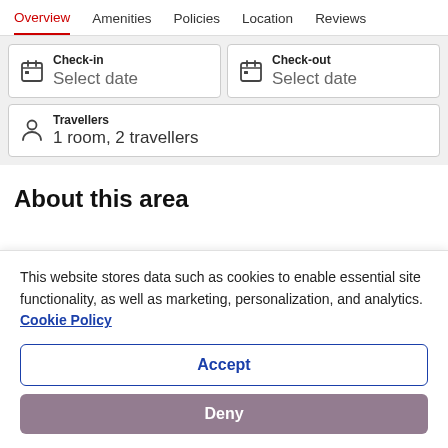Overview  Amenities  Policies  Location  Reviews
[Figure (screenshot): Hotel booking widget with Check-in and Check-out date selectors and Travellers selector showing 1 room, 2 travellers]
About this area
This website stores data such as cookies to enable essential site functionality, as well as marketing, personalization, and analytics. Cookie Policy
Accept
Deny